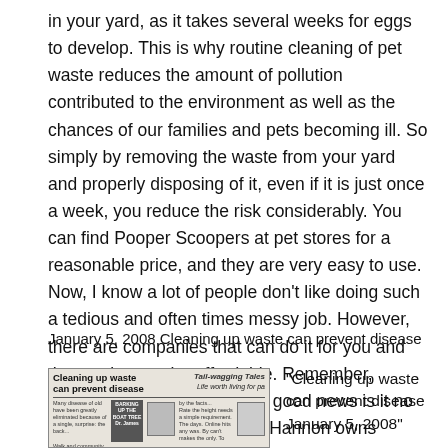in your yard, as it takes several weeks for eggs to develop. This is why routine cleaning of pet waste reduces the amount of pollution contributed to the environment as well as the chances of our families and pets becoming ill. So simply by removing the waste from your yard and properly disposing of it, even if it is just once a week, you reduce the risk considerably. You can find Pooper Scoopers at pet stores for a reasonable price, and they are very easy to use. Now, I know a lot of people don’t like doing such a tedious and often times messy job. However, there are companies that can do it for you and the service can be affordable. Remember, “Somebody has to do it. The good news is it no longer has to be you.” Peter Hannon owns PetTastics
January 5, 2008 Cleaning up waste can prevent disease
[Figure (photo): Newspaper clipping with headline 'Cleaning up waste can prevent disease' and adjacent article 'Life worth living for par...' with a photo and sidebar]
“Cleaning up waste can prevent disease January 5, 2008”